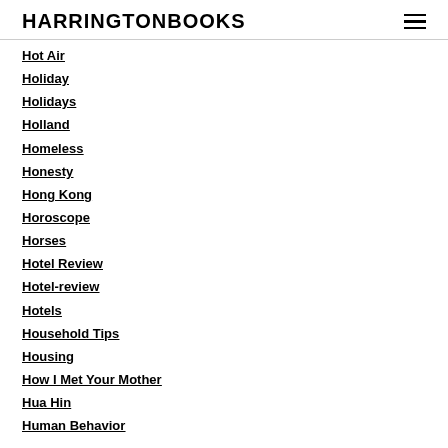HARRINGTONBOOKS
Hot Air
Holiday
Holidays
Holland
Homeless
Honesty
Hong Kong
Horoscope
Horses
Hotel Review
Hotel-review
Hotels
Household Tips
Housing
How I Met Your Mother
Hua Hin
Human Behavior